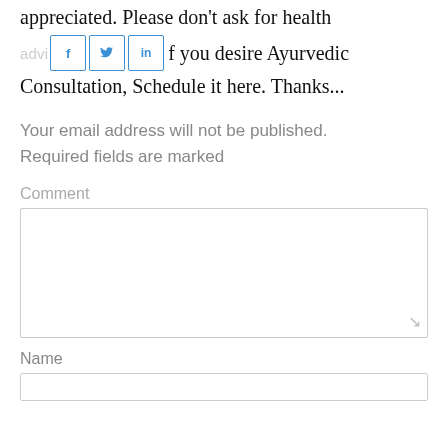appreciated. Please don't ask for health advice. If you desire Ayurvedic Consultation, Schedule it here. Thanks...
[Figure (other): Social share buttons: Facebook (f), Twitter (bird icon), LinkedIn (in), with faded 'advice' text behind]
Your email address will not be published. Required fields are marked
Comment
Name